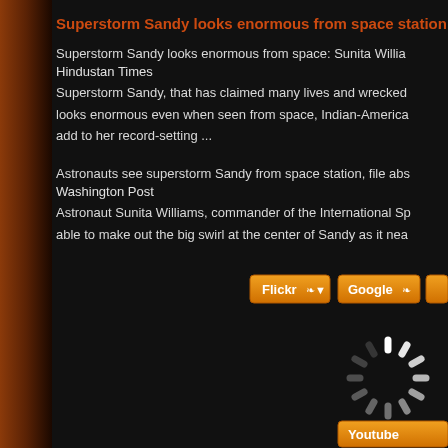Superstorm Sandy looks enormous from space station: S...
Superstorm Sandy looks enormous from space: Sunita Willia...
Hindustan Times
Superstorm Sandy, that has claimed many lives and wrecked...
looks enormous even when seen from space, Indian-America...
add to her record-setting ...
Astronauts see superstorm Sandy from space station, file abs...
Washington Post
Astronaut Sunita Williams, commander of the International Sp...
able to make out the big swirl at the center of Sandy as it nea...
[Figure (screenshot): Orange/gold buttons for Flickr and Google with leaf/plus icons, and a loading spinner (white dashes in circle) on dark background, plus a Youtube button at bottom right]